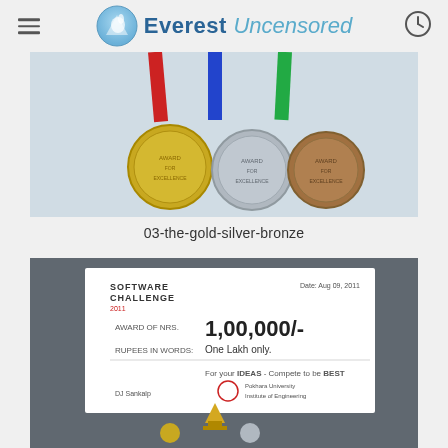Everest Uncensored
[Figure (photo): Three medals hanging by colored ribbons (red, blue, green) — gold, silver, and bronze medals on a light gray background]
03-the-gold-silver-bronze
[Figure (photo): A large ceremonial bank cheque from Software Challenge showing award amount of 1,00,000/- (One Lakh only) dated Aug 09, 2001, with a trophy and medals visible at the bottom]